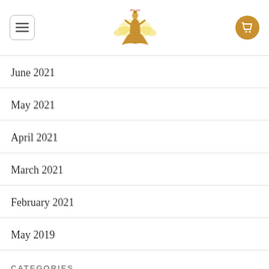[Logo: Pirali dancer figure] [Menu button] [Cart button]
June 2021
May 2021
April 2021
March 2021
February 2021
May 2019
CATEGORIES
100 payday loan
12 months installment loans